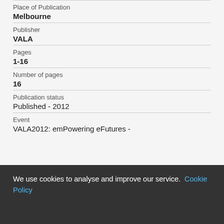| Place of Publication | Melbourne |
| Publisher | VALA |
| Pages | 1-16 |
| Number of pages | 16 |
| Publication status | Published - 2012 |
| Event | VALA2012: emPowering eFutures - |
We use cookies to analyse and improve our service. Cookie Policy